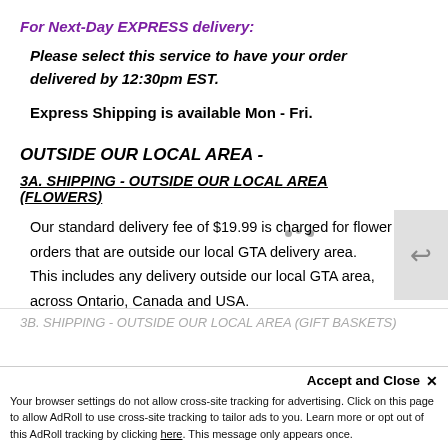For Next-Day EXPRESS delivery:
Please select this service to have your order delivered by 12:30pm EST.
Express Shipping is available Mon - Fri.
OUTSIDE OUR LOCAL AREA -
3A. SHIPPING - OUTSIDE OUR LOCAL AREA (FLOWERS)
Our standard delivery fee of $19.99 is charged for flower orders that are outside our local GTA delivery area.
This includes any delivery outside our local GTA area, across Ontario, Canada and USA.
3B. SHIPPING - OUTSIDE OUR LOCAL AREA (GIFT BASKETS)
Accept and Close ✕
Your browser settings do not allow cross-site tracking for advertising. Click on this page to allow AdRoll to use cross-site tracking to tailor ads to you. Learn more or opt out of this AdRoll tracking by clicking here. This message only appears once.